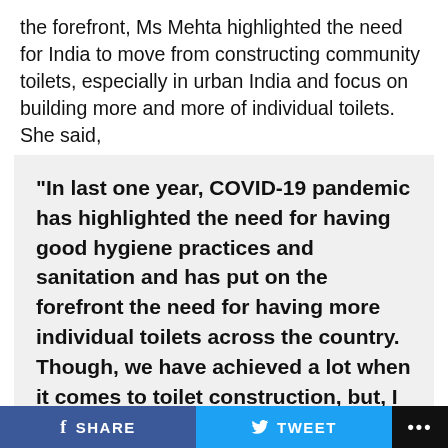the forefront, Ms Mehta highlighted the need for India to move from constructing community toilets, especially in urban India and focus on building more and more of individual toilets. She said,
“In last one year, COVID-19 pandemic has highlighted the need for having good hygiene practices and sanitation and has put on the forefront the need for having more individual toilets across the country. Though, we have achieved a lot when it comes to toilet construction, but, I think, now the emphasis should be given on constructing more of individual toilets rather than community toilets f…
f SHARE   🐦 TWEET   …